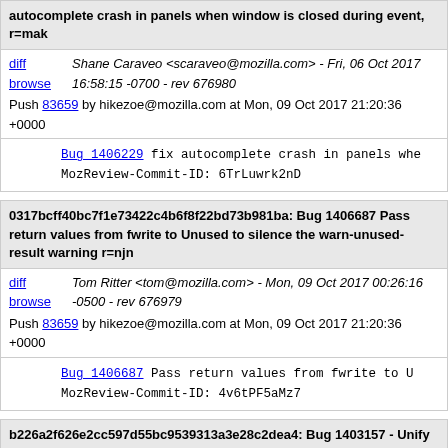autocomplete crash in panels when window is closed during event, r=mak
Shane Caraveo <scaraveo@mozilla.com> - Fri, 06 Oct 2017 16:58:15 -0700 - rev 676980
Push 83659 by hikezoe@mozilla.com at Mon, 09 Oct 2017 21:20:36 +0000
Bug_1406229 fix autocomplete crash in panels whe
MozReview-Commit-ID: 6TrLuwrk2nD
0317bcff40bc7f1e73422c4b6f8f22bd73b981ba: Bug 1406687 Pass return values from fwrite to Unused to silence the warn-unused-result warning r=njn
Tom Ritter <tom@mozilla.com> - Mon, 09 Oct 2017 00:26:16 -0500 - rev 676979
Push 83659 by hikezoe@mozilla.com at Mon, 09 Oct 2017 21:20:36 +0000
Bug_1406687 Pass return values from fwrite to U
MozReview-Commit-ID: 4v6tPF5aMz7
b226a2f626e2cc597d55bc9539313a3e28c2dea4: Bug 1403157 - Unify appMenu webext new permissions notification appearance with browser update notification. r=jaws
Ian Moody <moz-ian@perix.co.uk> - Wed, 27 Sep 2017 22:24:23 +0100 - rev 676978
Push 83659 by hikezoe@mozilla.com at Mon, 09 Oct 2017 21:20:36 +0000